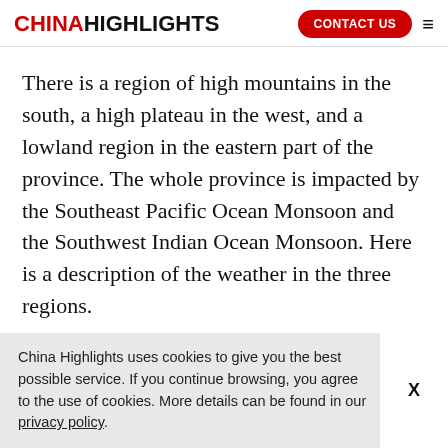CHINA HIGHLIGHTS | CONTACT US
There is a region of high mountains in the south, a high plateau in the west, and a lowland region in the eastern part of the province. The whole province is impacted by the Southeast Pacific Ocean Monsoon and the Southwest Indian Ocean Monsoon. Here is a description of the weather in the three regions.
China Highlights uses cookies to give you the best possible service. If you continue browsing, you agree to the use of cookies. More details can be found in our privacy policy.